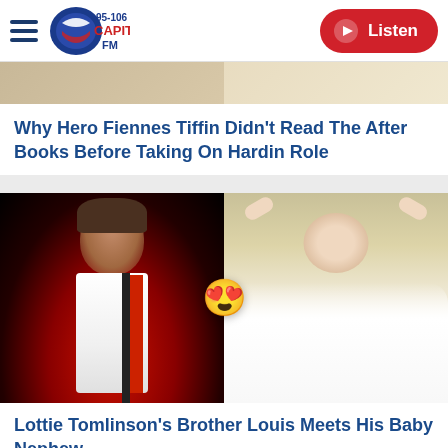95-106 Capital FM — Listen
[Figure (photo): Top portion of an article image, partially cropped at top of card]
Why Hero Fiennes Tiffin Didn't Read The After Books Before Taking On Hardin Role
[Figure (photo): Split image: left side shows Louis Tomlinson smiling on stage in red/white outfit; right side shows a sleeping baby; heart-eyes emoji overlay in center]
Lottie Tomlinson's Brother Louis Meets His Baby Nephew